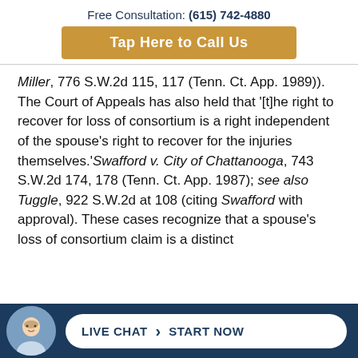Free Consultation: (615) 742-4880
Tap Here to Call Us
Miller, 776 S.W.2d 115, 117 (Tenn. Ct. App. 1989)). The Court of Appeals has also held that '[t]he right to recover for loss of consortium is a right independent of the spouse's right to recover for the injuries themselves.'Swafford v. City of Chattanooga, 743 S.W.2d 174, 178 (Tenn. Ct. App. 1987); see also Tuggle, 922 S.W.2d at 108 (citing Swafford with approval). These cases recognize that a spouse's loss of consortium claim is a distinct
LIVE CHAT  START NOW